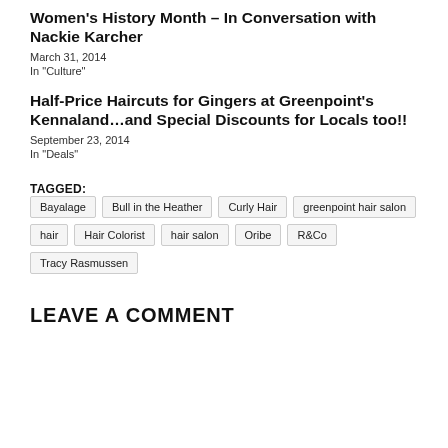Women's History Month – In Conversation with Nackie Karcher
March 31, 2014
In "Culture"
Half-Price Haircuts for Gingers at Greenpoint's Kennaland…and Special Discounts for Locals too!!
September 23, 2014
In "Deals"
TAGGED: Bayalage  Bull in the Heather  Curly Hair  greenpoint hair salon  hair  Hair Colorist  hair salon  Oribe  R&Co  Tracy Rasmussen
LEAVE A COMMENT